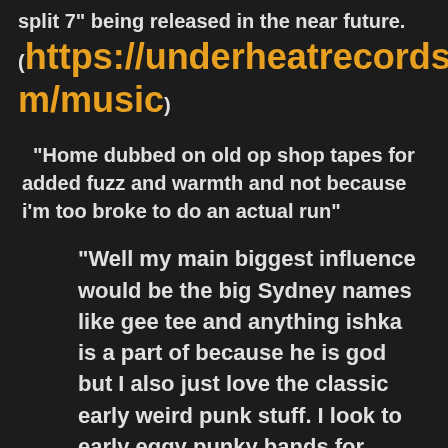split 7" being released in the near future. (https://underheatrecords.bandcamp.com/music)
"Home dubbed on old op shop tapes for added fuzz and warmth and not because i'm too broke to do an actual run"
"Well my main biggest influence would be the big Sydney names like gee tee and anything ishka is a part of because he is god but I also just love the classic early weird punk stuff. I look to early eggy punky bands for more of general feel though as a pose to actual sound. As far as future plans go I just really want to keep recording eps and playing any gig I get offered to be honest. As for bands I've recently been listening to